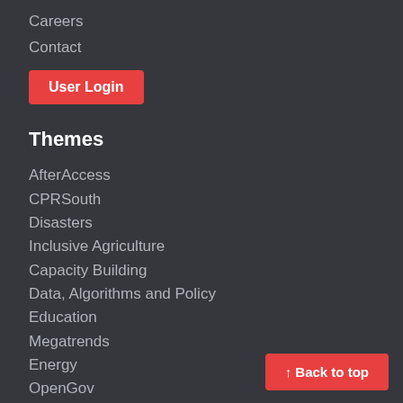Careers
Contact
User Login
Themes
AfterAccess
CPRSouth
Disasters
Inclusive Agriculture
Capacity Building
Data, Algorithms and Policy
Education
Megatrends
Energy
OpenGov
Small and Medium Enterprises
Future of Work
↑ Back to top